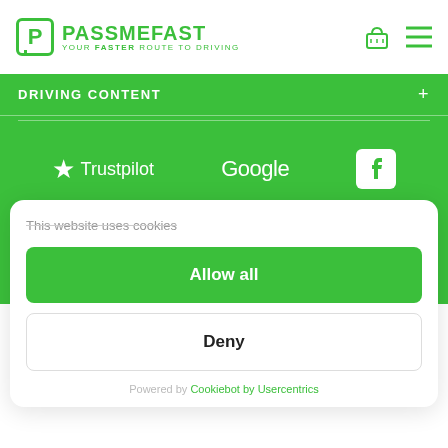[Figure (logo): PassMeFast logo with green P in square and tagline YOUR FASTER ROUTE TO DRIVING]
DRIVING CONTENT
[Figure (logo): Review platform logos: Trustpilot star, Google wordmark, Facebook F icon]
This website uses cookies
Allow all
Deny
Powered by Cookiebot by Usercentrics